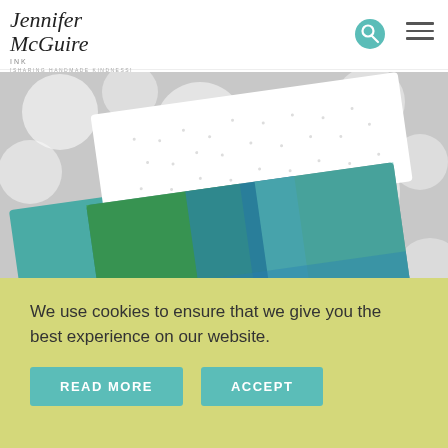Jennifer McGuire Ink — [SHARING HANDMADE KINDNESS]
[Figure (photo): Close-up photo of a handmade greeting card with the word 'friend' in large script lettering, on a blue-green watercolor/distress ink background with white leaf embellishments and small rhinestones, placed inside a teal envelope, against a soft bokeh grey background]
We use cookies to ensure that we give you the best experience on our website.
READ MORE
ACCEPT